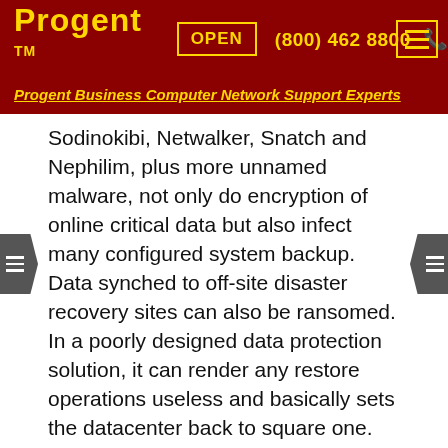Progent™  OPEN  (800) 462 8800
Progent Business Computer Network Support Experts
Sodinokibi, Netwalker, Snatch and Nephilim, plus more unnamed malware, not only do encryption of online critical data but also infect many configured system backup. Data synched to off-site disaster recovery sites can also be ransomed. In a poorly designed data protection solution, it can render any restore operations useless and basically sets the datacenter back to square one.
Getting back programs and data following a crypto-ransomware intrusion becomes a sprint against the clock as the targeted organization struggles to stop the spread and remove the crypto-ransomware and to restore enterprise-critical operations. Due to the fact that ransomware takes time to replicate, penetrations are frequently launched during